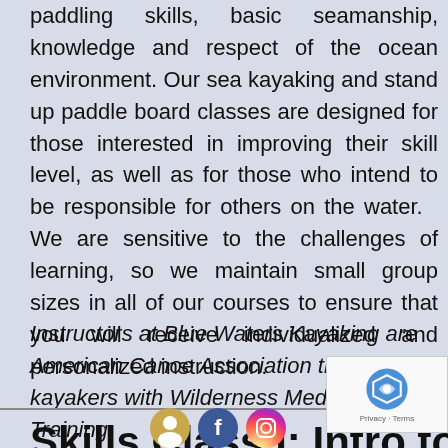paddling skills, basic seamanship, knowledge and respect of the ocean environment. Our sea kayaking and stand up paddle board classes are designed for those interested in improving their skill level, as well as for those who intend to be responsible for others on the water.   We are sensitive to the challenges of learning, so we maintain small group sizes in all of our courses to ensure that you will receive individualized and personalized instruction.
Instructors at Blue Waters Kayaking are American Canoe Association trained avid kayakers with Wilderness Medical Training.
Skills Class I: Intro to S